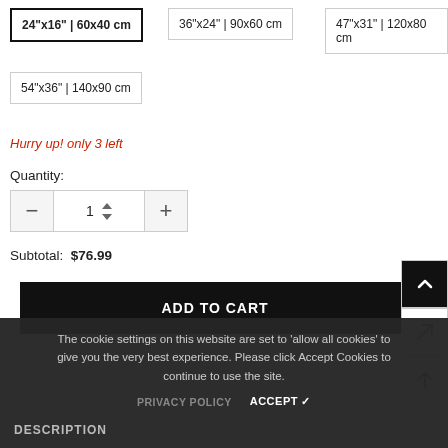24"x16" | 60x40 cm (selected)
36"x24" | 90x60 cm
47"x31" | 120x80 cm
54"x36" | 140x90 cm
Hurry up! only 3 left
Quantity:
Subtotal:  $76.99
ADD TO CART
The cookie settings on this website are set to 'allow all cookies' to give you the very best experience. Please click Accept Cookies to continue to use the site.
PRIVACY POLICY   ACCEPT ✓
DESCRIPTION